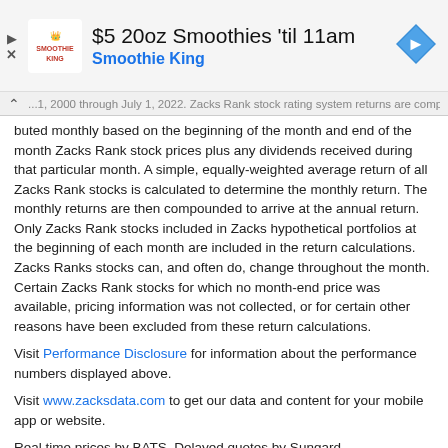[Figure (infographic): Smoothie King advertisement banner showing logo, $5 20oz Smoothies 'til 11am offer, and navigation arrow icon]
...buted monthly based on the beginning of the month and end of the month Zacks Rank stock prices plus any dividends received during that particular month. A simple, equally-weighted average return of all Zacks Rank stocks is calculated to determine the monthly return. The monthly returns are then compounded to arrive at the annual return. Only Zacks Rank stocks included in Zacks hypothetical portfolios at the beginning of each month are included in the return calculations. Zacks Ranks stocks can, and often do, change throughout the month. Certain Zacks Rank stocks for which no month-end price was available, pricing information was not collected, or for certain other reasons have been excluded from these return calculations.
Visit Performance Disclosure for information about the performance numbers displayed above.
Visit www.zacksdata.com to get our data and content for your mobile app or website.
Real time prices by BATS. Delayed quotes by Sungard.
NYSE and AMEX data is at least 20 minutes delayed. NASDAQ data is at least 15 minutes delayed.
This site is protected by reCAPTCHA and the Google Privacy Policy and Terms of Service apply.